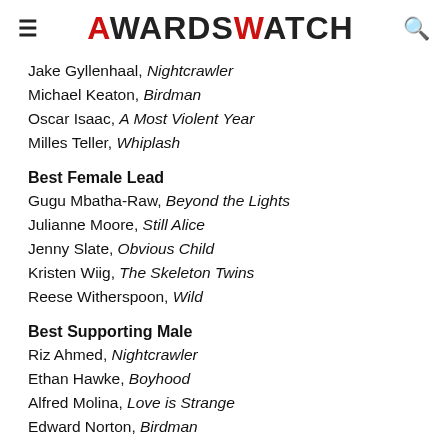AWARDSWATCH
Jake Gyllenhaal, Nightcrawler
Michael Keaton, Birdman
Oscar Isaac, A Most Violent Year
Milles Teller, Whiplash
Best Female Lead
Gugu Mbatha-Raw, Beyond the Lights
Julianne Moore, Still Alice
Jenny Slate, Obvious Child
Kristen Wiig, The Skeleton Twins
Reese Witherspoon, Wild
Best Supporting Male
Riz Ahmed, Nightcrawler
Ethan Hawke, Boyhood
Alfred Molina, Love is Strange
Edward Norton, Birdman